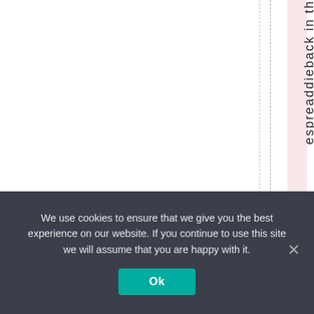[Figure (other): Table or spreadsheet view with dashed vertical lines and a pink highlighted column band, showing vertical text reading 'espreaddieback in th']
We use cookies to ensure that we give you the best experience on our website. If you continue to use this site we will assume that you are happy with it.
Ok